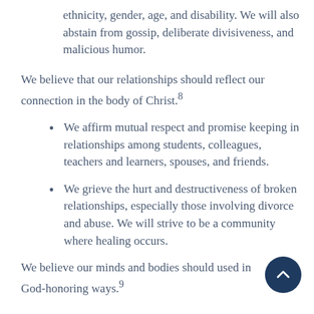ethnicity, gender, age, and disability. We will also abstain from gossip, deliberate divisiveness, and malicious humor.
We believe that our relationships should reflect our connection in the body of Christ.⁸
We affirm mutual respect and promise keeping in relationships among students, colleagues, teachers and learners, spouses, and friends.
We grieve the hurt and destructiveness of broken relationships, especially those involving divorce and abuse. We will strive to be a community where healing occurs.
We believe our minds and bodies should used in God-honoring ways.⁹